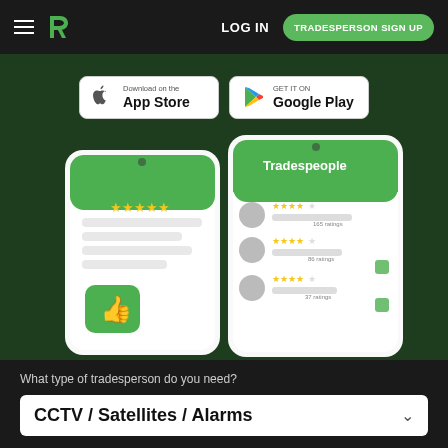LOG IN | TRADESPERSON SIGN UP
[Figure (screenshot): Two app store download buttons: Download on the App Store (Apple) and Get It On Google Play]
[Figure (illustration): Two smartphone mockups showing a tradesperson review app interface with thumbs-up icon, star ratings, and a Tradespeople list screen]
What type of tradesperson do you need?
CCTV / Satellites / Alarms